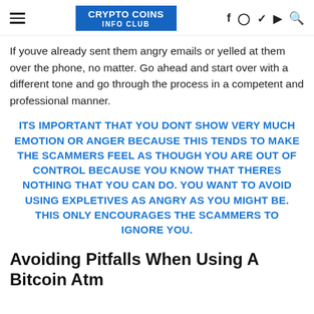CRYPTO COINS INFO CLUB
If youve already sent them angry emails or yelled at them over the phone, no matter. Go ahead and start over with a different tone and go through the process in a competent and professional manner.
ITS IMPORTANT THAT YOU DONT SHOW VERY MUCH EMOTION OR ANGER BECAUSE THIS TENDS TO MAKE THE SCAMMERS FEEL AS THOUGH YOU ARE OUT OF CONTROL BECAUSE YOU KNOW THAT THERES NOTHING THAT YOU CAN DO. YOU WANT TO AVOID USING EXPLETIVES AS ANGRY AS YOU MIGHT BE. THIS ONLY ENCOURAGES THE SCAMMERS TO IGNORE YOU.
Avoiding Pitfalls When Using A Bitcoin Atm